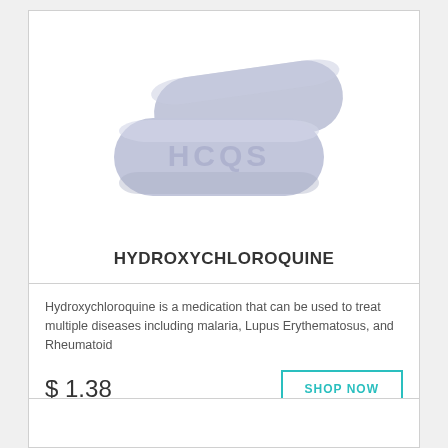[Figure (photo): Two light blue-grey oval/capsule-shaped tablets with 'HCQS' embossed on the front, photographed from above on a white background.]
HYDROXYCHLOROQUINE
Hydroxychloroquine is a medication that can be used to treat multiple diseases including malaria, Lupus Erythematosus, and Rheumatoid
$ 1.38
SHOP NOW